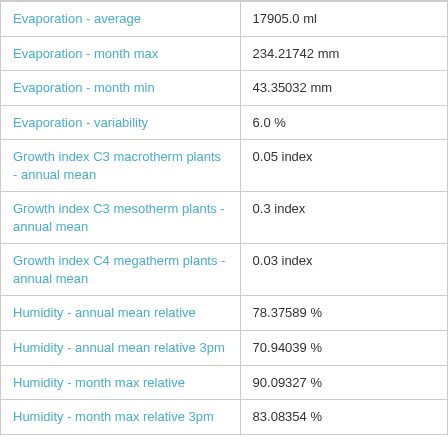| Parameter | Value |
| --- | --- |
| Evaporation - average | 17905.0 ml |
| Evaporation - month max | 234.21742 mm |
| Evaporation - month min | 43.35032 mm |
| Evaporation - variability | 6.0 % |
| Growth index C3 macrotherm plants - annual mean | 0.05 index |
| Growth index C3 mesotherm plants - annual mean | 0.3 index |
| Growth index C4 megatherm plants - annual mean | 0.03 index |
| Humidity - annual mean relative | 78.37589 % |
| Humidity - annual mean relative 3pm | 70.94039 % |
| Humidity - month max relative | 90.09327 % |
| Humidity - month max relative 3pm | 83.08354 % |